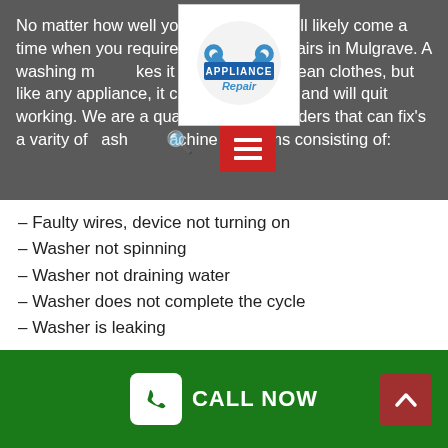No matter how well yo[u maintain your appliances, ]there will likely come a time when you require w[ashing] machine repairs in Mulgrave. A washing m[achine ma]kes it very simple to clean clothes, but like any appliance, it can get damaged and will quit working. We are a quality service providers that can fix's a varity of washing machine problems consisting of:
[Figure (logo): Appliance Repair logo with wrenches graphic, white background square]
– Faulty wires, device not turning on
– Washer not spinning
– Washer not draining water
– Washer does not complete the cycle
– Washer is leaking
Brands Serviced
When your washing machine starts to give trouble, you'll